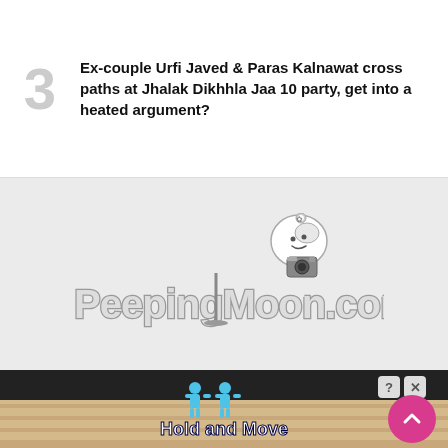3  Ex-couple Urfi Javed & Paras Kalnawat cross paths at Jhalak Dikhhla Jaa 10 party, get into a heated argument?
[Figure (logo): PeepingMoon.com logo on grey background]
4  Madhuri Dixit Nene, Karan Johar and Nora Fatehi to front the powerful panel of judges on ‘Jhalak Dikhhla Jaa 10’ as it returns after 5 years, Maniesh Paul to come back as host
[Figure (logo): PeepingMoon.com logo on grey background (second instance)]
[Figure (infographic): Ad banner at bottom: Hold and Move game advertisement with two blue figures and striped background]